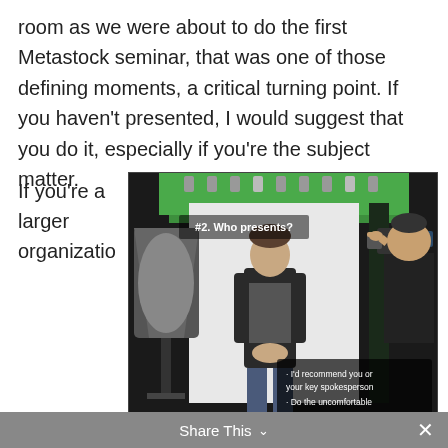room as we were about to do the first Metastock seminar, that was one of those defining moments, a critical turning point. If you haven't presented, I would suggest that you do it, especially if you're the subject matter.
If you're a larger organization
[Figure (photo): A person standing in front of a green screen in a professional video studio, with lighting equipment and a camera operator filming. Overlay text reads '#2. Who presents?' and bullet points: 'I'd recommend you or your key spokesperson' and 'Do the uncomfortable']
n and you've got a bigger business, sometimes you have a spokesperson. Maybe you want to find a celebrity in the space, someone who is an expert or someone you can bring in and bring
Share This